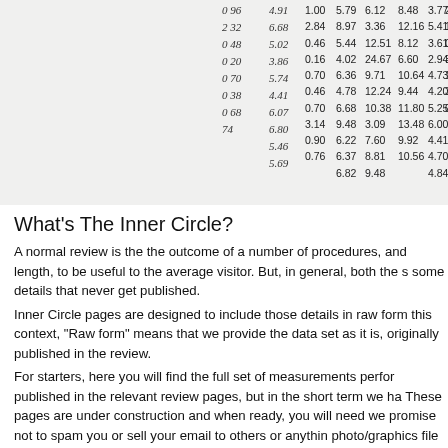[Figure (table-as-image): Scanned/photographed data table with handwritten and printed numerical columns. Columns include values like 0.96, 4.91, 1.00, 5.79, 6.12, 8.48, 3.77, 2.6; 2.32, 6.68, 2.84, 8.97, 3.36, 12.16, 5.41; 0.48, 5.02, 0.46, 5.44, 12.51, 8.12, 3.61, 1.16; 0.20, 3.86, 0.16, 4.02, 24.67, 6.60, 2.94, 0.92; 0.70, 5.74, 0.70, 6.36, 9.71, 10.64, 4.73, 3.88; 0.38, 4.41, 0.46, 4.78, 12.24, 9.44, 4.20, 1.66; 0.68, 6.07, 0.70, 6.68, 10.38, 11.80, 5.25; 0.74, 6.80, 3.14, 9.48, 3.09, 13.48, 6.00; 5.46, 0.90, 6.22, 7.60, 9.92, 4.41, 3.5; 5.69, 0.76, 6.37, 8.81, 10.56, 4.70, 0.7; 6.82, 9.48, 4.84]
What's The Inner Circle?
A normal review is the the outcome of a number of procedures, and length, to be useful to the average visitor. But, in general, both the s some details that never get published.
Inner Circle pages are designed to include those details in raw form this context, "Raw form" means that we provide the data set as it is, originally published in the review.
For starters, here you will find the full set of measurements perfor published in the relevant review pages, but in the short term we ha These pages are under construction and when ready, you will need we promise not to spam you or sell your email to others or anythin photo/graphics file viewer, a PDF reader and a spreadsheet softwar the data.